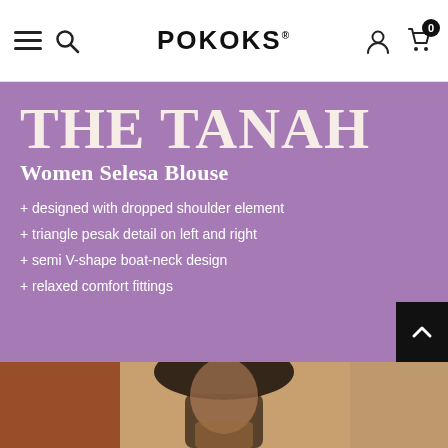POKOKS
THE TANAH
Women Selesa Blouse
+ designed with dropped shoulder element
+ triangle pesak detail on left and right
+ semi V-shape boat-neck design
+ relaxed comfort fittings
[Figure (photo): Photo of a woman model with long dark hair, looking downward, wearing the Tanah blouse, against a warm-toned background]